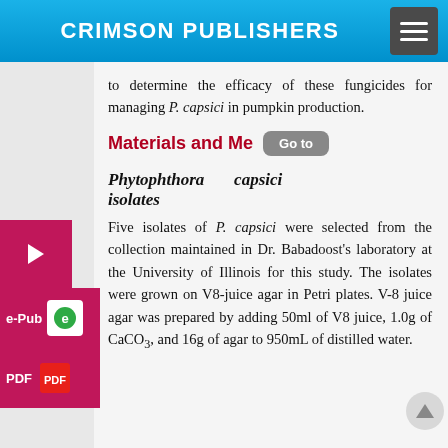CRIMSON PUBLISHERS
to determine the efficacy of these fungicides for managing P. capsici in pumpkin production.
Materials and Methods
Phytophthora capsici isolates
Five isolates of P. capsici were selected from the collection maintained in Dr. Babadoost's laboratory at the University of Illinois for this study. The isolates were grown on V8-juice agar in Petri plates. V-8 juice agar was prepared by adding 50ml of V8 juice, 1.0g of CaCO3, and 16g of agar to 950mL of distilled water.